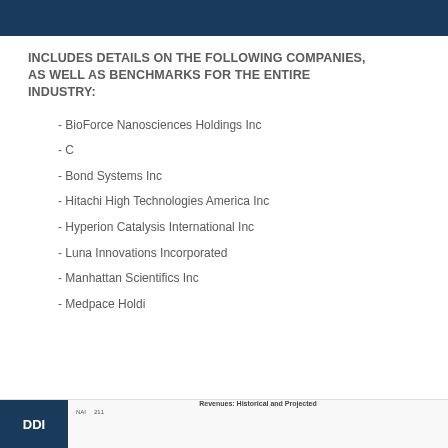INCLUDES DETAILS ON THE FOLLOWING COMPANIES, AS WELL AS BENCHMARKS FOR THE ENTIRE INDUSTRY:
- BioForce Nanosciences Holdings Inc
- C
- Bond Systems Inc
- Hitachi High Technologies America Inc
- Hyperion Catalysis International Inc
- Luna Innovations Incorporated
- Manhattan Scientifics Inc
- Medpace Holdi
[Figure (other): Partial preview of a chart page showing 'Revenues: Historical and Projected' with a logo and table header at the bottom of the page]